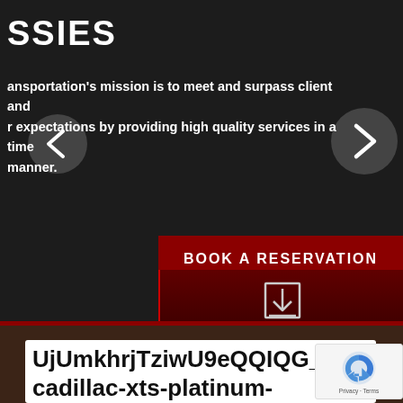SSIES
ansportation's mission is to meet and surpass client and r expectations by providing high quality services in a time manner.
BOOK A RESERVATION
[Figure (illustration): Download icon — arrow pointing down into a tray, white outline on dark red background]
GET STARTED
UjUmkhrjTziwU9eQQIQG_cadillac-xts-platinum-concert-2